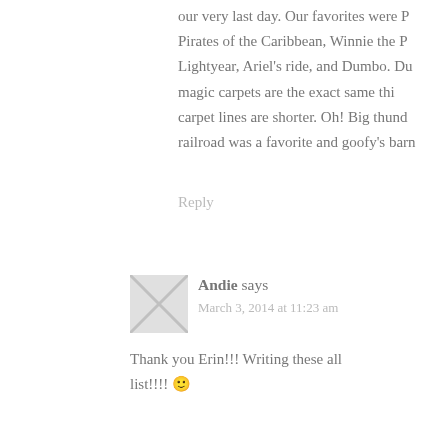our very last day. Our favorites were P... Pirates of the Caribbean, Winnie the P... Lightyear, Ariel's ride, and Dumbo. Du... magic carpets are the exact same thi... carpet lines are shorter. Oh! Big thund... railroad was a favorite and goofy's barn...
Reply
Andie says
March 3, 2014 at 11:23 am
Thank you Erin!!! Writing these all... list!!!!  🙂